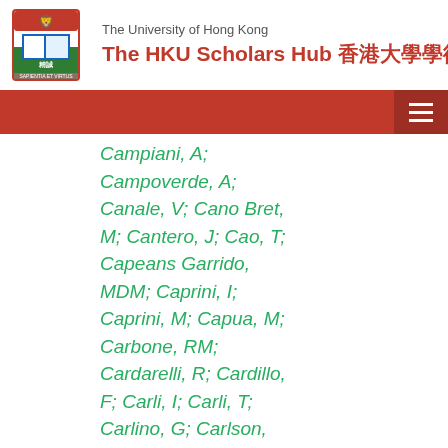The University of Hong Kong — The HKU Scholars Hub 香港大學學術庫
Campiani, A; Campoverde, A; Canale, V; Cano Bret, M; Cantero, J; Cao, T; Capeans Garrido, MDM; Caprini, I; Caprini, M; Capua, M; Carbone, RM; Cardarelli, R; Cardillo, F; Carli, I; Carli, T; Carlino, G; Carlson, BT; Carminati, L; Carney, RMD; Caron, S; Carquin, E; Carrá, S; Carrillo-Montoya, GD; Casadei, D; Casado, MP; Casha, AF; Casolino, M;